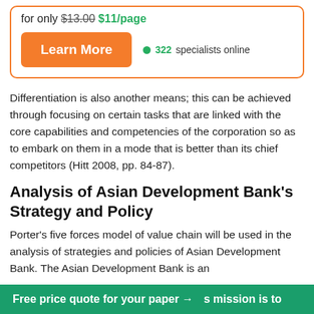for only $13.00 $11/page
Learn More
322 specialists online
Differentiation is also another means; this can be achieved through focusing on certain tasks that are linked with the core capabilities and competencies of the corporation so as to embark on them in a mode that is better than its chief competitors (Hitt 2008, pp. 84-87).
Analysis of Asian Development Bank's Strategy and Policy
Porter's five forces model of value chain will be used in the analysis of strategies and policies of Asian Development Bank. The Asian Development Bank is an
Free price quote for your paper →